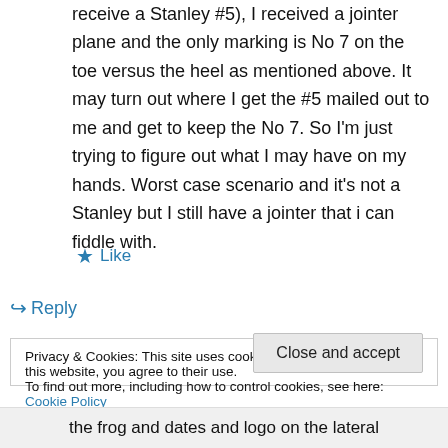receive a Stanley #5), I received a jointer plane and the only marking is No 7 on the toe versus the heel as mentioned above. It may turn out where I get the #5 mailed out to me and get to keep the No 7. So I'm just trying to figure out what I may have on my hands. Worst case scenario and it's not a Stanley but I still have a jointer that i can fiddle with.
★ Like
↪ Reply
Privacy & Cookies: This site uses cookies. By continuing to use this website, you agree to their use.
To find out more, including how to control cookies, see here: Cookie Policy
Close and accept
the frog and dates and logo on the lateral